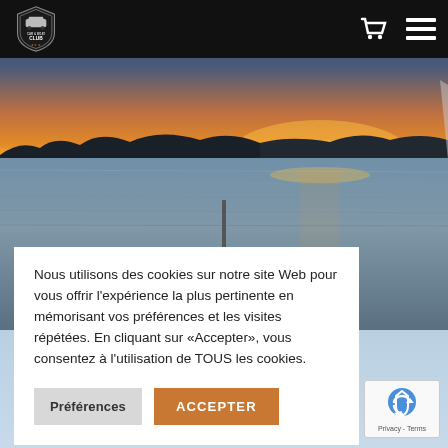[Figure (screenshot): Website screenshot showing Car & Boat Club navigation bar with logo, cart icon, and hamburger menu on black background]
[Figure (photo): Sunset landscape photo taken from front of a boat on calm water, silhouetted treeline, orange and golden sky reflected in water]
Nous utilisons des cookies sur notre site Web pour vous offrir l'expérience la plus pertinente en mémorisant vos préférences et les visites répétées. En cliquant sur «Accepter», vous consentez à l'utilisation de TOUS les cookies.
Préférences
ACCEPTER